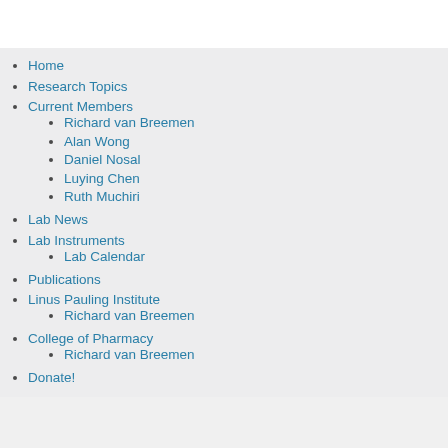Home
Research Topics
Current Members
Richard van Breemen
Alan Wong
Daniel Nosal
Luying Chen
Ruth Muchiri
Lab News
Lab Instruments
Lab Calendar
Publications
Linus Pauling Institute
Richard van Breemen
College of Pharmacy
Richard van Breemen
Donate!